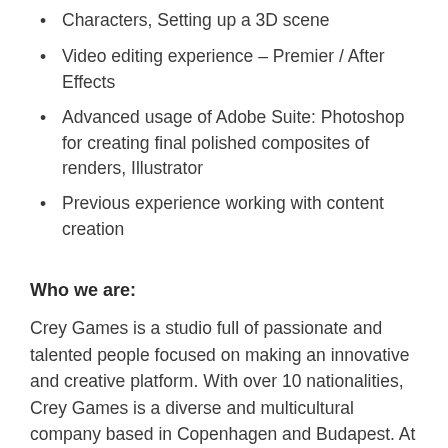Characters, Setting up a 3D scene
Video editing experience – Premier / After Effects
Advanced usage of Adobe Suite: Photoshop for creating final polished composites of renders, Illustrator
Previous experience working with content creation
Who we are:
Crey Games is a studio full of passionate and talented people focused on making an innovative and creative platform. With over 10 nationalities, Crey Games is a diverse and multicultural company based in Copenhagen and Budapest. At Crey Games, we are passionate about positive culture and have a great office environment. We have space for personal growth and you can expect to be